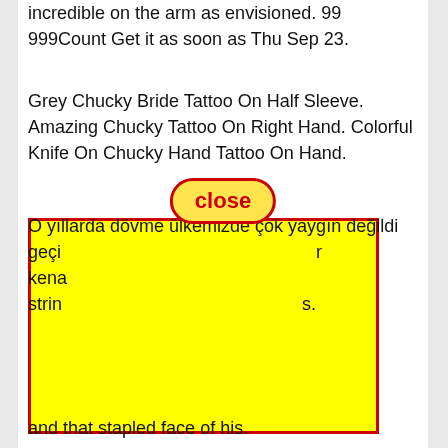incredible on the arm as envisioned. 99 999Count Get it as soon as Thu Sep 23.
Grey Chucky Bride Tattoo On Half Sleeve. Amazing Chucky Tattoo On Right Hand. Colorful Knife On Chucky Hand Tattoo On Hand.
[Figure (other): Close button - oval shaped yellow button with red border and bold red 'close' text]
[Figure (other): Yellow rectangle with red border overlaying text content]
O yıllarda dövme ülkemizde çok yaygın değildi geçi... r kena... strin... s.
The... hau... ky Hea... art Tatto... Cos... and that stapled face of his.